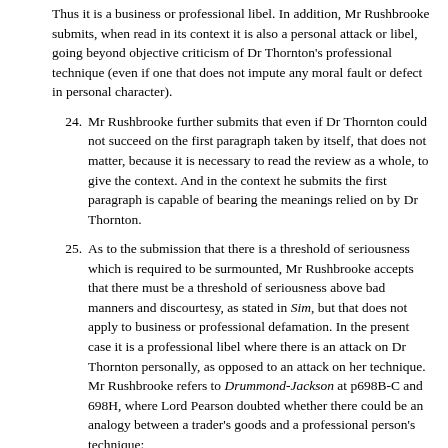Thus it is a business or professional libel. In addition, Mr Rushbrooke submits, when read in its context it is also a personal attack or libel, going beyond objective criticism of Dr Thornton's professional technique (even if one that does not impute any moral fault or defect in personal character).
24. Mr Rushbrooke further submits that even if Dr Thornton could not succeed on the first paragraph taken by itself, that does not matter, because it is necessary to read the review as a whole, to give the context. And in the context he submits the first paragraph is capable of bearing the meanings relied on by Dr Thornton.
25. As to the submission that there is a threshold of seriousness which is required to be surmounted, Mr Rushbrooke accepts that there must be a threshold of seriousness above bad manners and discourtesy, as stated in Sim, but that does not apply to business or professional defamation. In the present case it is a professional libel where there is an attack on Dr Thornton personally, as opposed to an attack on her technique. Mr Rushbrooke refers to Drummond-Jackson at p698B-C and 698H, where Lord Pearson doubted whether there could be an analogy between a trader's goods and a professional person's technique: